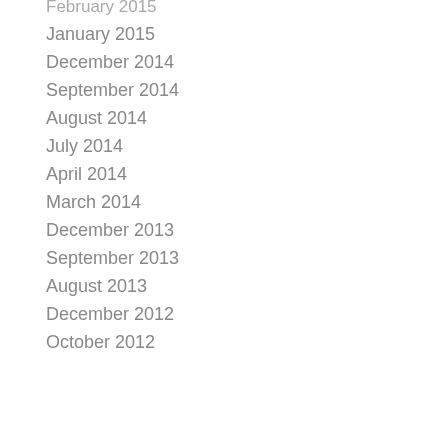February 2015
January 2015
December 2014
September 2014
August 2014
July 2014
April 2014
March 2014
December 2013
September 2013
August 2013
December 2012
October 2012